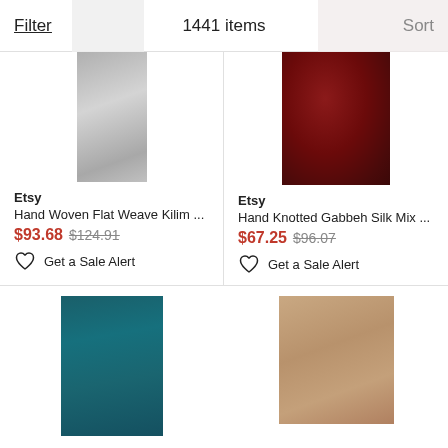Filter   1441 items   Sort
[Figure (photo): Gray flat weave kilim rug, narrow rectangular shape]
Etsy
Hand Woven Flat Weave Kilim ...
$93.68 $124.91
Get a Sale Alert
[Figure (photo): Dark red knotted Gabbeh silk rug, square-ish shape]
Etsy
Hand Knotted Gabbeh Silk Mix ...
$67.25 $96.07
Get a Sale Alert
[Figure (photo): Teal blue-green rug, rectangular shape, partially visible]
[Figure (photo): Tan/brown rug, rectangular shape, partially visible]